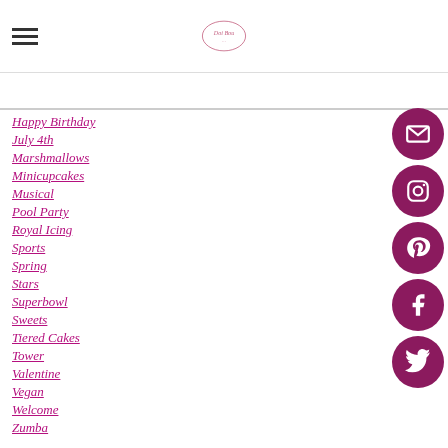Navigation menu header with hamburger icon and logo
Happy Birthday
July 4th
Marshmallows
Minicupcakes
Musical
Pool Party
Royal Icing
Sports
Spring
Stars
Superbowl
Sweets
Tiered Cakes
Tower
Valentine
Vegan
Welcome
Zumba
[Figure (illustration): Social media icons sidebar: email, Instagram, Pinterest, Facebook, Twitter — dark pink/maroon circular buttons on the right side]